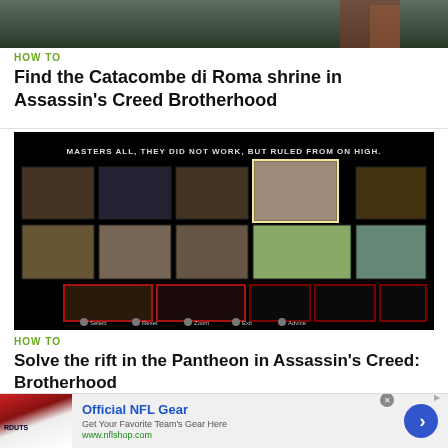[Figure (screenshot): Game screenshot partial view at top of page, dark forest/ruins scene]
HOW TO
Find the Catacombe di Roma shrine in Assassin's Creed Brotherhood
[Figure (screenshot): Game screenshot showing puzzle grid with text MASTERS ALL, THEY DID NOT WORK, BUT RULED FROM ON HIGH. Grid shows painting artwork tiles with controls: Select, Reset, Zoom, Exit, Advice]
HOW TO
Solve the rift in the Pantheon in Assassin's Creed: Brotherhood
[Figure (infographic): Advertisement for Official NFL Gear showing jerseys, text Get Your Favorite Team's Here, www.nflshop.com with blue arrow button]